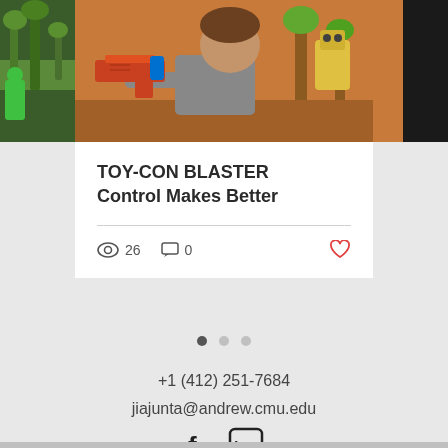[Figure (photo): A person holding and aiming a Nintendo Labo Toy-Con cardboard blaster peripheral. Left strip shows a dark green game scene. Right strip is black. Center shows an orange-background game scene with the person aiming the blaster.]
TOY-CON BLASTER Control Makes Better
👁 26   💬 0   ♡
+1 (412) 251-7684
jiajunta@andrew.cmu.edu
[Figure (infographic): Social media icons: Facebook (f) and LinkedIn (in)]